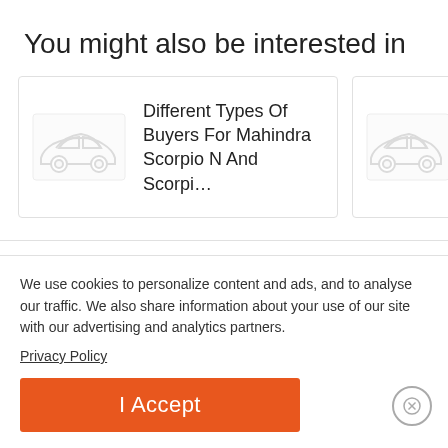You might also be interested in
[Figure (illustration): Card showing a car silhouette illustration with text: Different Types Of Buyers For Mahindra Scorpio N And Scorpi...]
[Figure (illustration): Partial card showing a car silhouette illustration with text: Mah Toyo Spa (partially visible)]
TRENDING
RECENT
We use cookies to personalize content and ads, and to analyse our traffic. We also share information about your use of our site with our advertising and analytics partners.
Privacy Policy
I Accept